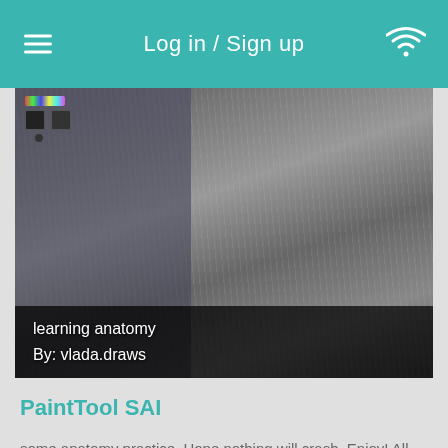Log in / Sign up
[Figure (screenshot): Video thumbnail showing a drawing/painting in progress with text overlay 'learning anatomy By: vlada.draws']
PaintTool SAI
some anatomy practice. Hope nothing will crash. Enjoy! All Music used belongs ... (continued)
almost 4 years ago    Total Views: 13
Watch Now